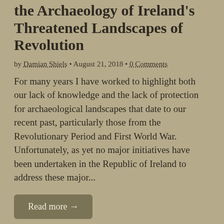the Archaeology of Ireland's Threatened Landscapes of Revolution
by Damian Shiels • August 21, 2018 • 0 Comments
For many years I have worked to highlight both our lack of knowledge and the lack of protection for archaeological landscapes that date to our recent past, particularly those from the Revolutionary Period and First World War. Unfortunately, as yet no major initiatives have been undertaken in the Republic of Ireland to address these major...
Read more →
RESOURCES
Landscapes of Revolution Project